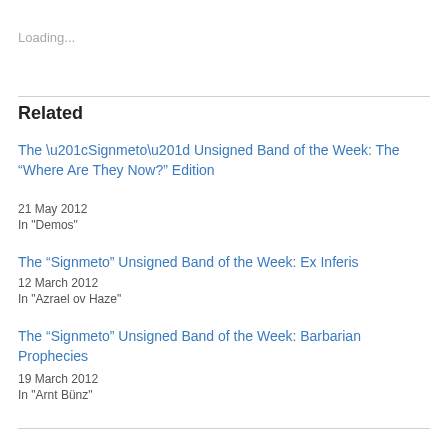Loading...
Related
The “Signmeto” Unsigned Band of the Week: The “Where Are They Now?” Edition
21 May 2012
In "Demos"
The “Signmeto” Unsigned Band of the Week: Ex Inferis
12 March 2012
In "Azrael ov Haze"
The “Signmeto” Unsigned Band of the Week: Barbarian Prophecies
19 March 2012
In "Arnt Bünz"